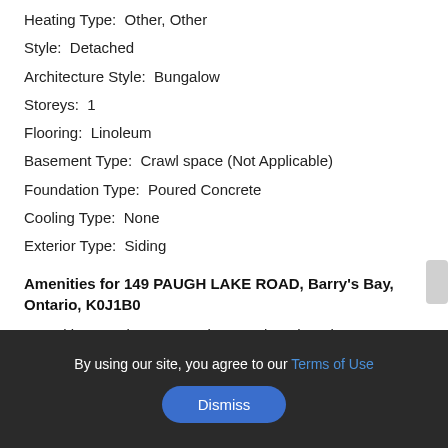Heating Type:  Other, Other
Style:  Detached
Architecture Style:  Bungalow
Storeys:  1
Flooring:  Linoleum
Basement Type:  Crawl space (Not Applicable)
Foundation Type:  Poured Concrete
Cooling Type:  None
Exterior Type:  Siding
Amenities for 149 PAUGH LAKE ROAD, Barry's Bay, Ontario, K0J1B0
Amenities Nearby:  Recreation Nearby, Shopping, Water Nearby
By using our site, you agree to our Terms of Use
Dismiss